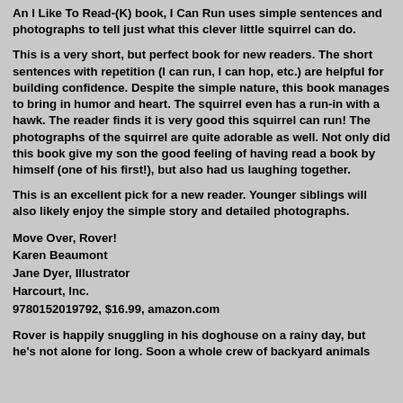An I Like To Read-(K) book, I Can Run uses simple sentences and photographs to tell just what this clever little squirrel can do.
This is a very short, but perfect book for new readers. The short sentences with repetition (I can run, I can hop, etc.) are helpful for building confidence. Despite the simple nature, this book manages to bring in humor and heart. The squirrel even has a run-in with a hawk. The reader finds it is very good this squirrel can run! The photographs of the squirrel are quite adorable as well. Not only did this book give my son the good feeling of having read a book by himself (one of his first!), but also had us laughing together.
This is an excellent pick for a new reader. Younger siblings will also likely enjoy the simple story and detailed photographs.
Move Over, Rover!
Karen Beaumont
Jane Dyer, Illustrator
Harcourt, Inc.
9780152019792, $16.99, amazon.com
Rover is happily snuggling in his doghouse on a rainy day, but he's not alone for long. Soon a whole crew of backyard animals makes his famous doghouse its retreat, one at a time, until...